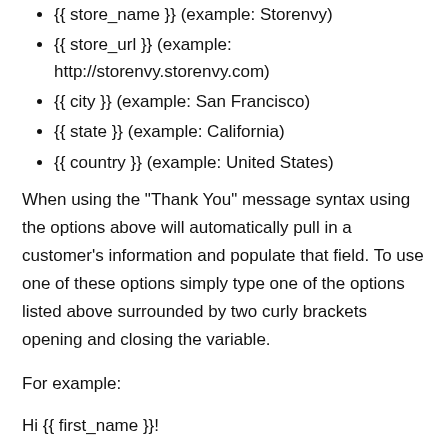{{ store_name }}  (example: Storenvy)
{{ store_url }}  (example: http://storenvy.storenvy.com)
{{ city }}  (example: San Francisco)
{{ state }}  (example: California)
{{ country }}  (example: United States)
When using the "Thank You" message syntax using the options above will automatically pull in a customer's information and populate that field. To use one of these options simply type one of the options listed above surrounded by two curly brackets opening and closing the variable.
For example:
Hi {{ first_name }}!
Thanks for your order. It's been shipped and is on its way. People like you are ones that keep us going. Your support of